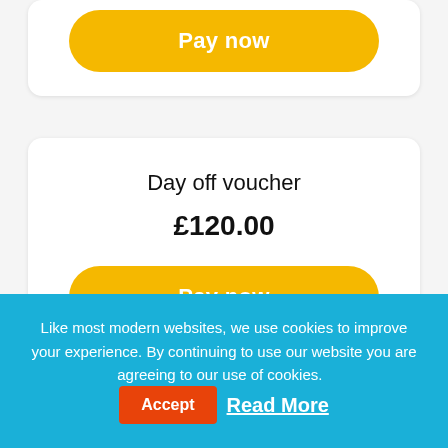[Figure (screenshot): Partial top card with a yellow 'Pay now' button]
Day off voucher
£120.00
[Figure (screenshot): Yellow 'Pay now' button for Day off voucher]
Like most modern websites, we use cookies to improve your experience. By continuing to use our website you are agreeing to our use of cookies.
Accept
Read More